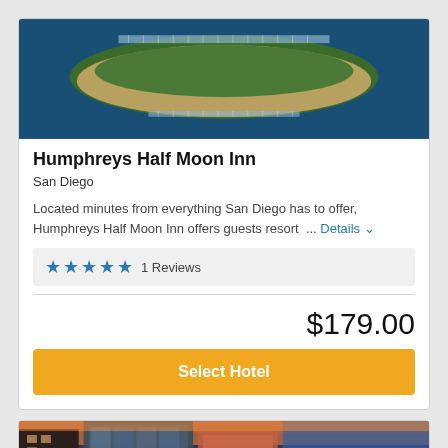[Figure (photo): Aerial view of a marina/island with boats and docks surrounded by water]
Humphreys Half Moon Inn
San Diego
Located minutes from everything San Diego has to offer, Humphreys Half Moon Inn offers guests resort ... Details
★★★★★ 1 Reviews
$179.00
Select Hotel
[Figure (photo): Partial view of a hotel building exterior at dusk/sunset]